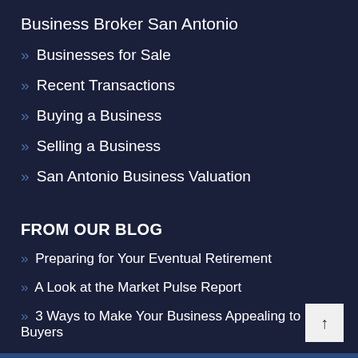Business Broker San Antonio
» Businesses for Sale
» Recent Transactions
» Buying a Business
» Selling a Business
» San Antonio Business Valuation
FROM OUR BLOG
» Preparing for Your Eventual Retirement
» A Look at the Market Pulse Report
» 3 Ways to Make Your Business Appealing to Buyers
» Three Reasons Why You Might Want to Own a Business